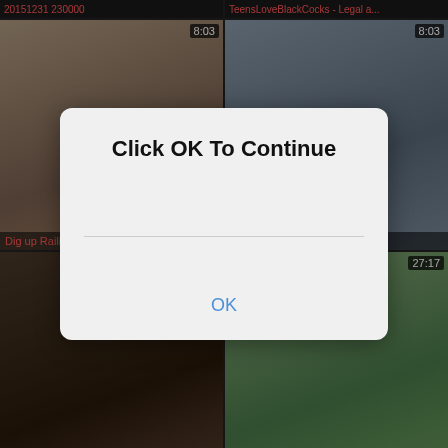20151231 230000
TeensLoveBlackCocks - Legal a...
[Figure (screenshot): Video thumbnail - blonde woman, duration 8:03, title: Dig up Raili...]
[Figure (screenshot): Video thumbnail - blonde woman close up, duration 8:03, title: ...ded to s...]
[Figure (screenshot): Video thumbnail - dark close up, title: VID 20151227 222907743]
[Figure (screenshot): Video thumbnail - green fabric, duration 27:17, title: Ashley with the addition of Deat...]
[Figure (screenshot): Video thumbnail - woman, duration 6:00]
[Figure (screenshot): Video thumbnail - locker room, duration 10:15]
Click OK To Continue
OK